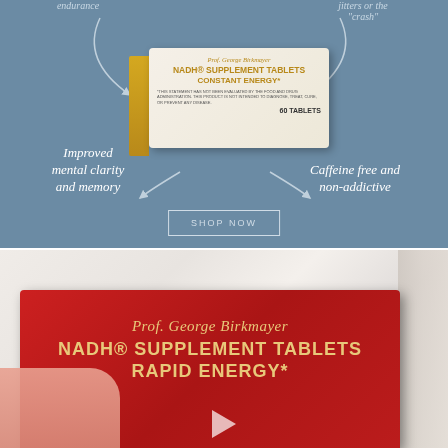[Figure (infographic): Blue background product infographic showing NADH Supplement Tablets Constant Energy box with benefit labels: endurance (top left, partially visible), jitters or the crash (top right, partially visible), improved mental clarity and memory (bottom left), caffeine free and non-addictive (bottom right), with curved arrows and a Shop Now button]
[Figure (photo): Photo of hands holding red NADH Supplement Tablets Rapid Energy box by Prof. George Birkmayer, on marble surface with partial knife/tool visible on right, play button overlay at bottom]